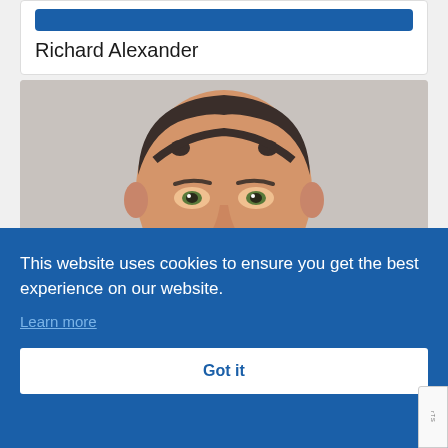Richard Alexander
[Figure (photo): Headshot photo of a man with short dark hair and stubble, wearing a blue collar, photographed against a light background]
This website uses cookies to ensure you get the best experience on our website.
Learn more
Got it